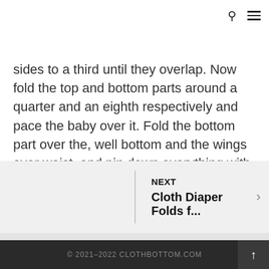🔍 ≡
sides to a third until they overlap. Now fold the top and bottom parts around a quarter and an eighth respectively and pace the baby over it. Fold the bottom part over the, well bottom and the wings over waist, and pin down everything with a safety pin.
NEXT
Cloth Diaper Folds f...
© 2021–2022 CLOTHBOTTOM.COM